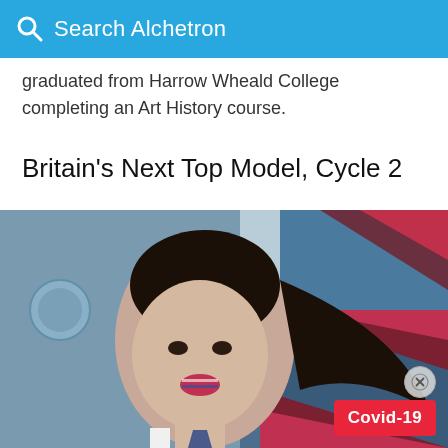Search Alchetron
graduated from Harrow Wheald College completing an Art History course.
Britain's Next Top Model, Cycle 2
[Figure (photo): A female model with dark hair styled back, wearing a plaid tie, with a Union Jack flag painted on her lips, posed against a background featuring the Union Jack flag motif in blue and red tones.]
Covid-19